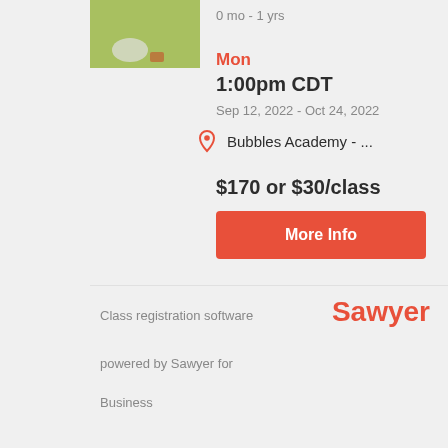[Figure (photo): Baby toys on a green surface]
0 mo - 1 yrs
Mon
1:00pm CDT
Sep 12, 2022 - Oct 24, 2022
Bubbles Academy - ...
$170 or $30/class
More Info
Class registration software
Sawyer
powered by Sawyer for
Business